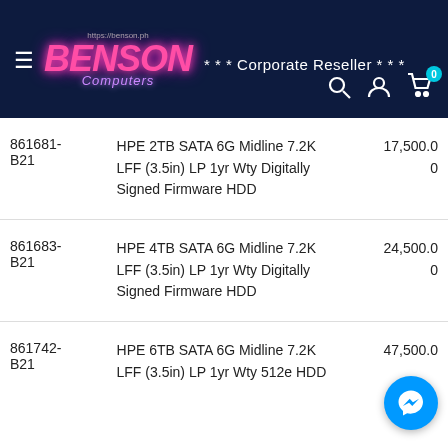https://benson.ph BENSON Computers *** Corporate Reseller ***
| SKU | Description | Price |
| --- | --- | --- |
| 861681-B21 | HPE 2TB SATA 6G Midline 7.2K LFF (3.5in) LP 1yr Wty Digitally Signed Firmware HDD | 17,500.00 |
| 861683-B21 | HPE 4TB SATA 6G Midline 7.2K LFF (3.5in) LP 1yr Wty Digitally Signed Firmware HDD | 24,500.00 |
| 861742-B21 | HPE 6TB SATA 6G Midline 7.2K LFF (3.5in) LP 1yr Wty 512e HDD | 47,500.0 |